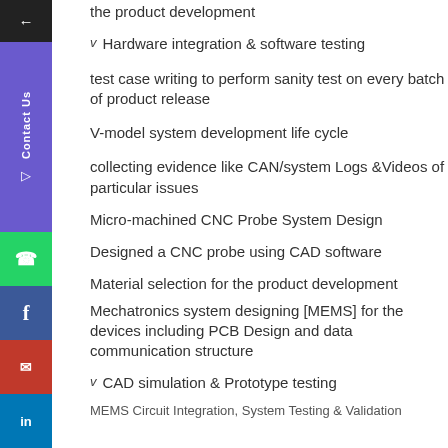the product development
Hardware integration & software testing
test case writing to perform sanity test on every batch of product release
V-model system development life cycle
collecting evidence like CAN/system Logs &Videos of particular issues
Micro-machined CNC Probe System Design
Designed a CNC probe using CAD software
Material selection for the product development
Mechatronics system designing [MEMS] for the devices including PCB Design and data communication structure
CAD simulation & Prototype testing
MEMS Circuit Integration, System Testing & Validation